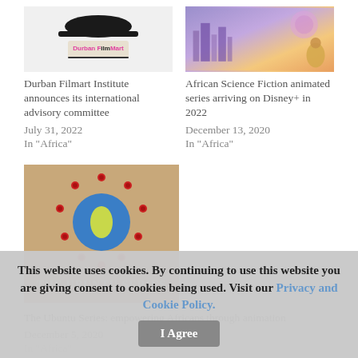[Figure (photo): Durban FilmMart logo on light grey background]
Durban Filmart Institute announces its international advisory committee
July 31, 2022
In "Africa"
[Figure (illustration): African Science Fiction animated series artwork with futuristic city and characters]
African Science Fiction animated series arriving on Disney+ in 2022
December 13, 2020
In "Africa"
[Figure (photo): The Ubuntu Series logo: globe surrounded by red figures with text 'THE UBUNTU SERIES']
The Ubuntu Series: empowering Africans through animation
December 5, 2020
In "Africa"
This website uses cookies. By continuing to use this website you are giving consent to cookies being used. Visit our Privacy and Cookie Policy.
I Agree